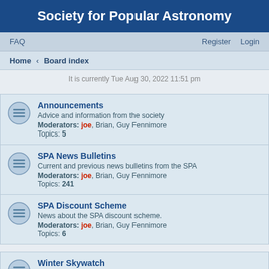Society for Popular Astronomy
FAQ   Register   Login
Home › Board index
It is currently Tue Aug 30, 2022 11:51 pm
Announcements
Advice and information from the society
Moderators: joe, Brian, Guy Fennimore
Topics: 5
SPA News Bulletins
Current and previous news bulletins from the SPA
Moderators: joe, Brian, Guy Fennimore
Topics: 241
SPA Discount Scheme
News about the SPA discount scheme.
Moderators: joe, Brian, Guy Fennimore
Topics: 6
Winter Skywatch
If you're taking part in the SPA Winter Skywatch, here's the place to share your observing experiences and chat with others about them.